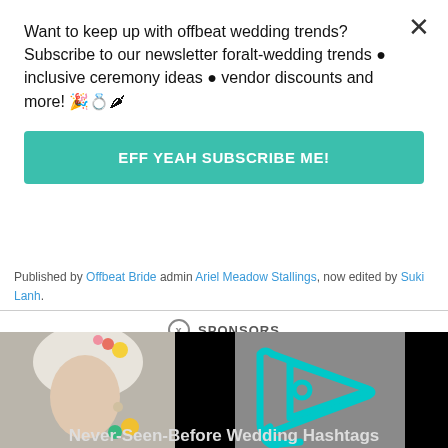Want to keep up with offbeat wedding trends?Subscribe to our newsletter for⁠alt-wedding trends • inclusive ceremony ideas • vendor discounts and more! 🎉💍🌸
EFF YEAH SUBSCRIBE ME!
Published by Offbeat Bride admin Ariel Meadow Stallings, now edited by Suki Lanh.
SPONSORS
[Figure (screenshot): Video player with gray background showing a cyan/teal play button logo (InVideo style), with a partial image of a woman with white/blonde hair and flowers visible on the left side. Black bars on sides.]
Never-Seen-Before Wedding Hashtags